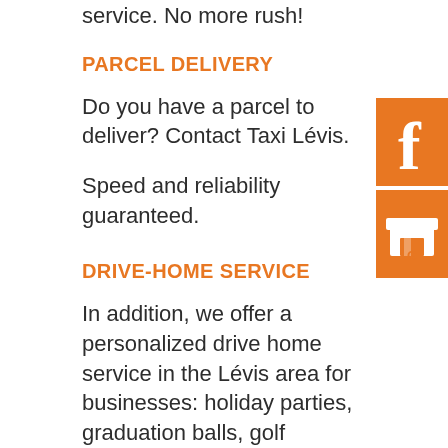service. No more rush!
PARCEL DELIVERY
Do you have a parcel to deliver? Contact Taxi Lévis.
Speed and reliability guaranteed.
DRIVE-HOME SERVICE
In addition, we offer a personalized drive home service in the Lévis area for businesses: holiday parties, graduation balls, golf tournaments and other events.
[Figure (logo): Orange Facebook icon button]
[Figure (logo): Orange Google My Business icon button]